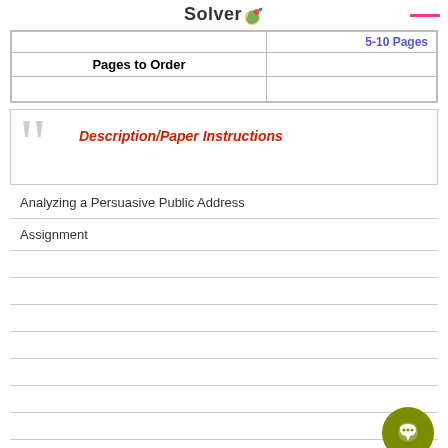Solver
| Pages to Order | 5-10 Pages |
| --- | --- |
|  |  |
Description/Paper Instructions
Analyzing a Persuasive Public Address
Assignment